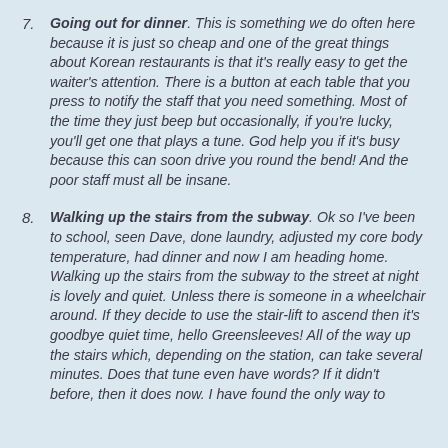Going out for dinner. This is something we do often here because it is just so cheap and one of the great things about Korean restaurants is that it's really easy to get the waiter's attention. There is a button at each table that you press to notify the staff that you need something. Most of the time they just beep but occasionally, if you're lucky, you'll get one that plays a tune. God help you if it's busy because this can soon drive you round the bend! And the poor staff must all be insane.
Walking up the stairs from the subway. Ok so I've been to school, seen Dave, done laundry, adjusted my core body temperature, had dinner and now I am heading home. Walking up the stairs from the subway to the street at night is lovely and quiet. Unless there is someone in a wheelchair around. If they decide to use the stair-lift to ascend then it's goodbye quiet time, hello Greensleeves! All of the way up the stairs which, depending on the station, can take several minutes. Does that tune even have words? If it didn't before, then it does now. I have found the only way to